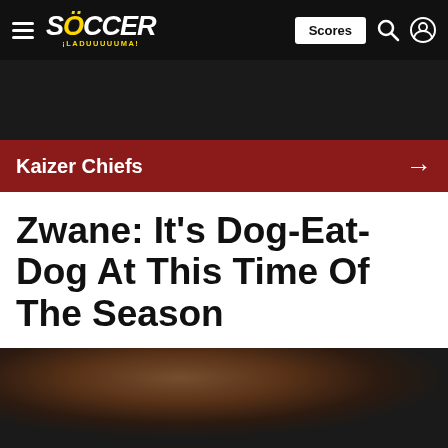Soccer Laduma — Scores
Kaizer Chiefs →
Zwane: It's Dog-Eat-Dog At This Time Of The Season
May 3, 2022 - 10:13 pm
By Soccer Laduma
[Figure (photo): Blurred sports photo at the bottom of the page]